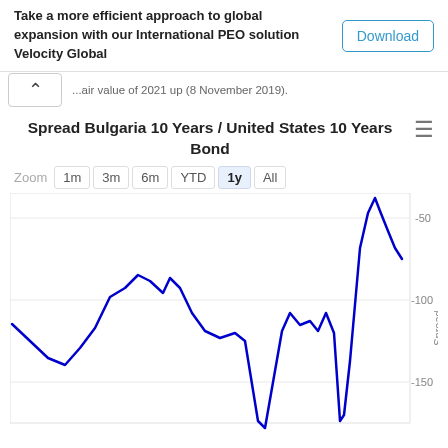Take a more efficient approach to global expansion with our International PEO solution Velocity Global
Download
...air value of 2021 up (8 November 2019).
Spread Bulgaria 10 Years / United States 10 Years Bond
[Figure (continuous-plot): Line chart showing the spread between Bulgaria 10 Year and United States 10 Year bond yields over a 1-year period. The line is dark blue. The y-axis is labeled 'Spread' and shows values from approximately -170 to -40, with gridlines at -50, -100, and -150. The line starts around -115, dips to about -140, rises to around -85, drops sharply to about -185, rises to around -120, then surges sharply to a peak near -35 before dropping back to around -80.]